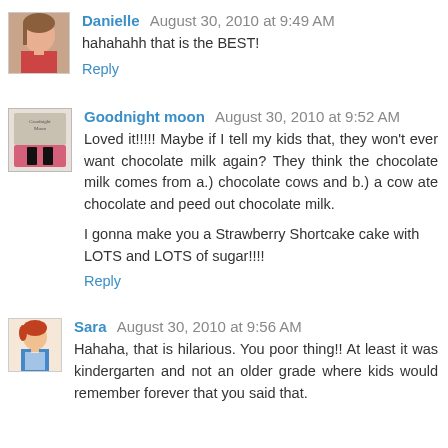Danielle  August 30, 2010 at 9:49 AM
hahahahh that is the BEST!
Reply
Goodnight moon  August 30, 2010 at 9:52 AM
Loved it!!!!! Maybe if I tell my kids that, they won't ever want chocolate milk again? They think the chocolate milk comes from a.) chocolate cows and b.) a cow ate chocolate and peed out chocolate milk.

I gonna make you a Strawberry Shortcake cake with LOTS and LOTS of sugar!!!!
Reply
Sara  August 30, 2010 at 9:56 AM
Hahaha, that is hilarious. You poor thing!! At least it was kindergarten and not an older grade where kids would remember forever that you said that.